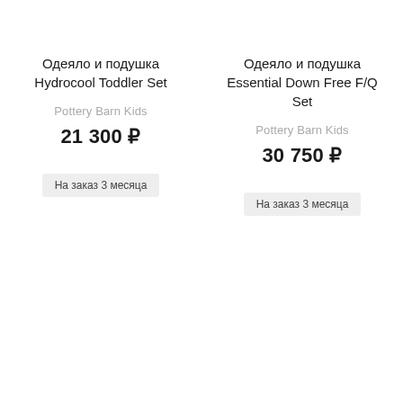Одеяло и подушка Hydrocool Toddler Set
Pottery Barn Kids
21 300 ₽
На заказ 3 месяца
Одеяло и подушка Essential Down Free F/Q Set
Pottery Barn Kids
30 750 ₽
На заказ 3 месяца